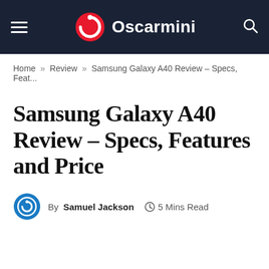Oscarmini
Home » Review » Samsung Galaxy A40 Review – Specs, Feat...
Samsung Galaxy A40 Review – Specs, Features and Price
By Samuel Jackson  5 Mins Read